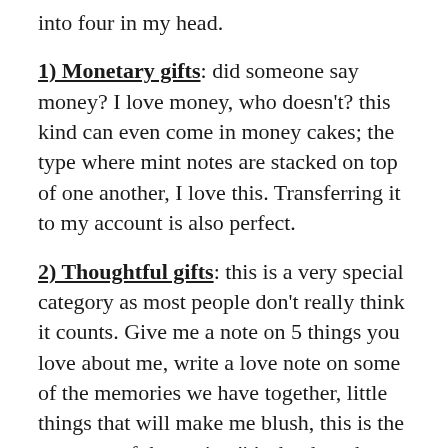into four in my head.
1) Monetary gifts: did someone say money? I love money, who doesn't? this kind can even come in money cakes; the type where mint notes are stacked on top of one another, I love this. Transferring it to my account is also perfect.
2) Thoughtful gifts: this is a very special category as most people don't really think it counts. Give me a note on 5 things you love about me, write a love note on some of the memories we have together, little things that will make me blush, this is the category of the saying 'it's the thought that counts'. Just little things that make me "awwwnn" happy that you thought of me.
3) Practical gifts: practical as the word implies, things I can put to use, give me those cute sneakers,